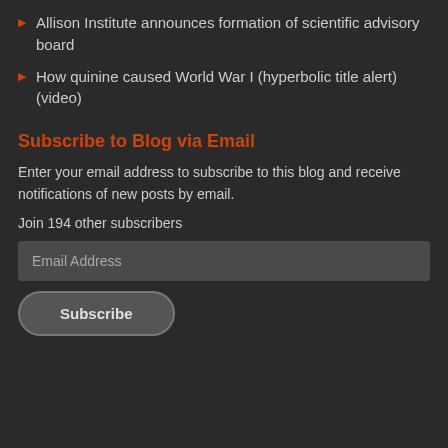Allison Institute announces formation of scientific advisory board
How quinine caused World War I (hyperbolic title alert) (video)
Subscribe to Blog via Email
Enter your email address to subscribe to this blog and receive notifications of new posts by email.
Join 194 other subscribers